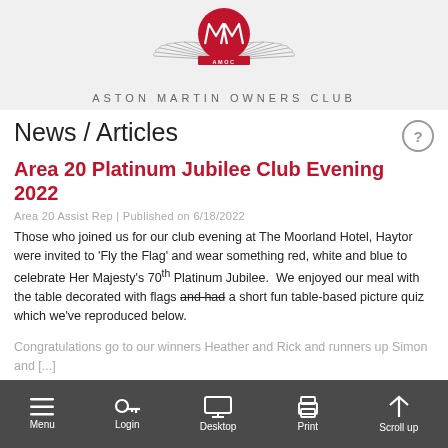[Figure (logo): Aston Martin Owners Club (AMOC) logo: red circular emblem with stylized wings and AMOC text]
ASTON MARTIN OWNERS CLUB
News / Articles
Area 20 Platinum Jubilee Club Evening 2022
Area 20 Assist Rep | Published on 6/18/2022
Those who joined us for our club evening at The Moorland Hotel, Haytor were invited to 'Fly the Flag' and wear something red, white and blue to celebrate Her Majesty's 70th Platinum Jubilee. We enjoyed our meal with the table decorated with flags and had a short fun table-based picture quiz which we've reproduced below.
Congratulations go to our winners Heather and Rick and runners up Simon and [...]